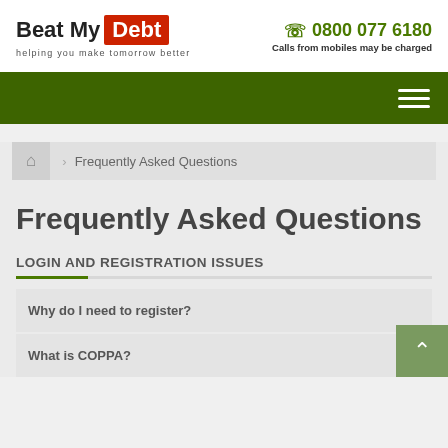[Figure (logo): Beat My Debt logo with red background on 'Debt' word and tagline 'helping you make tomorrow better']
0800 077 6180
Calls from mobiles may be charged
[Figure (other): Dark green navigation bar with hamburger menu icon (three white horizontal lines)]
Frequently Asked Questions
Frequently Asked Questions
LOGIN AND REGISTRATION ISSUES
Why do I need to register?
What is COPPA?